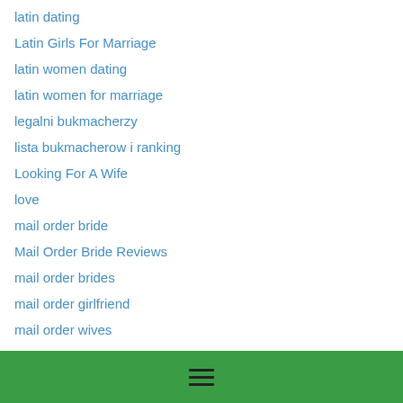latin dating
Latin Girls For Marriage
latin women dating
latin women for marriage
legalni bukmacherzy
lista bukmacherow i ranking
Looking For A Wife
love
mail order bride
Mail Order Bride Reviews
mail order brides
mail order girlfriend
mail order wives
Mailorder Brides
Marriage Sites
Marrying A Foreign Wife